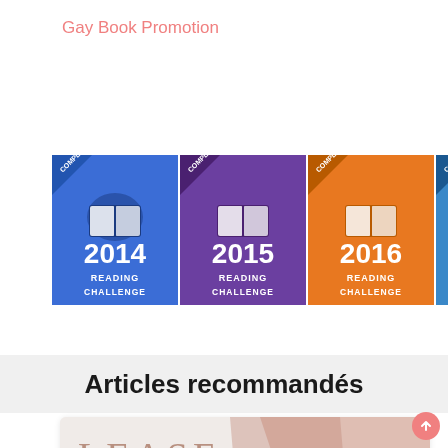Gay Book Promotion
[Figure (illustration): Seven Goodreads Reading Challenge completed badges for years 2014, 2015, 2016, 2017, 2019, 2020, and 2021, each with a book icon and 'READING CHALLENGE' text, in colors blue, purple, orange, blue, dark navy, teal, and purple respectively.]
Articles recommandés
[Figure (illustration): Partial view of a blog article card with marble-textured background and pink diagonal stripe, showing large serif text reading 'RELEASE BLITZ BLO...']